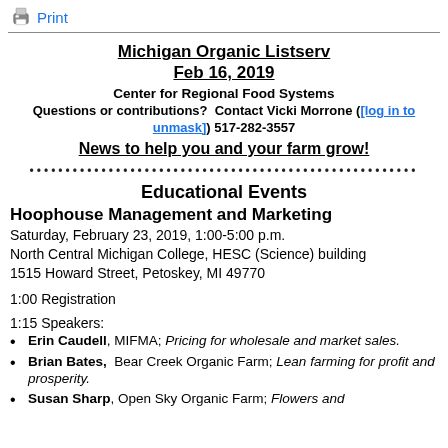Print
Michigan Organic Listserv
Feb 16, 2019
Center for Regional Food Systems
Questions or contributions?  Contact Vicki Morrone ([log in to unmask]) 517-282-3557
News to help you and your farm grow!
Educational Events
Hoophouse Management and Marketing
Saturday, February 23, 2019, 1:00-5:00 p.m.
North Central Michigan College, HESC (Science) building
1515 Howard Street, Petoskey, MI 49770
1:00 Registration
1:15 Speakers:
Erin Caudell, MIFMA; Pricing for wholesale and market sales.
Brian Bates, Bear Creek Organic Farm; Lean farming for profit and prosperity.
Susan Sharp, Open Sky Organic Farm; Flowers and